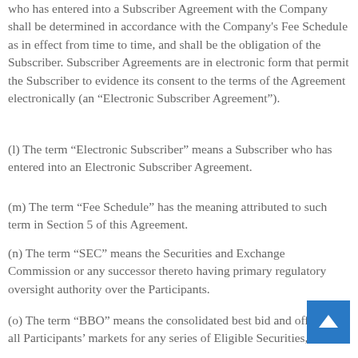who has entered into a Subscriber Agreement with the Company shall be determined in accordance with the Company's Fee Schedule as in effect from time to time, and shall be the obligation of the Subscriber. Subscriber Agreements are in electronic form that permit the Subscriber to evidence its consent to the terms of the Agreement electronically (an “Electronic Subscriber Agreement”).
(l) The term “Electronic Subscriber” means a Subscriber who has entered into an Electronic Subscriber Agreement.
(m) The term “Fee Schedule” has the meaning attributed to such term in Section 5 of this Agreement.
(n) The term “SEC” means the Securities and Exchange Commission or any successor thereto having primary regulatory oversight authority over the Participants.
(o) The term “BBO” means the consolidated best bid and offer in all Participants’ markets for any series of Eligible Securities, as